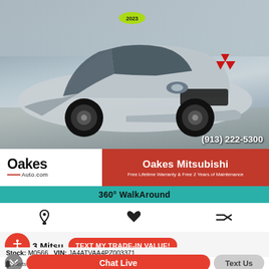[Figure (photo): Silver 2023 Mitsubishi Eclipse Cross SUV parked in dealership lot, front three-quarter view with black wheels and black accents. Phone number (913) 222-5300 overlaid in white text at bottom right.]
(913) 222-5300
[Figure (logo): Oakes Auto.com dealership logo on white background]
Oakes Mitsubishi
Free Lifetime Warranty & Free 2 Years of Maintenance
360° WalkAround
TEXT MY TRADE-IN VALUE!
3 Mitsu
Stock: M0566  VIN: JA4ATVAA4PZ003371
Chat Live
Text Us
Alerts